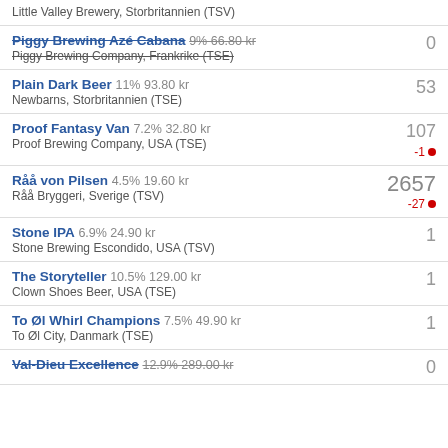Little Valley Brewery, Storbritannien (TSV)
Piggy Brewing Azé Cabana 9% 66.80 kr | Piggy Brewing Company, Frankrike (TSE) | count: 0
Plain Dark Beer 11% 93.80 kr | Newbarns, Storbritannien (TSE) | count: 53
Proof Fantasy Van 7.2% 32.80 kr | Proof Brewing Company, USA (TSE) | count: 107, delta: -1
Råå von Pilsen 4.5% 19.60 kr | Råå Bryggeri, Sverige (TSV) | count: 2657, delta: -27
Stone IPA 6.9% 24.90 kr | Stone Brewing Escondido, USA (TSV) | count: 1
The Storyteller 10.5% 129.00 kr | Clown Shoes Beer, USA (TSE) | count: 1
To Øl Whirl Champions 7.5% 49.90 kr | To Øl City, Danmark (TSE) | count: 1
Val-Dieu Excellence 12.9% 289.00 kr | count: 0